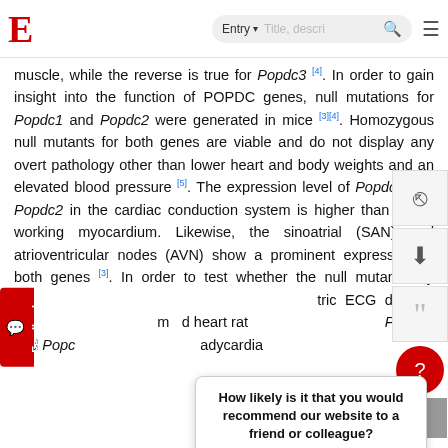E  Entry ▾  Title, descr...  🔍  ☰
muscle, while the reverse is true for Popdc3 [4]. In order to gain insight into the function of POPDC genes, null mutations for Popdc1 and Popdc2 were generated in mice [3][4]. Homozygous null mutants for both genes are viable and do not display any overt pathology other than lower heart and body weights and an elevated blood pressure [5]. The expression level of Popdc1 and Popdc2 in the cardiac conduction system is higher than in the working myocardium. Likewise, the sinoatrial (SAN) and atrioventricular nodes (AVN) show a prominent expression of both genes [3]. In order to test whether the null mutants display a cardiac conduction phenotype, telemetric ECG devices were implanted in the mutant mice and heart rate variability was analysed. Mutants for Popdc1 and Popdc2 developed stress-induced bradycardia
How likely is it that you would recommend our website to a friend or colleague?
Reply